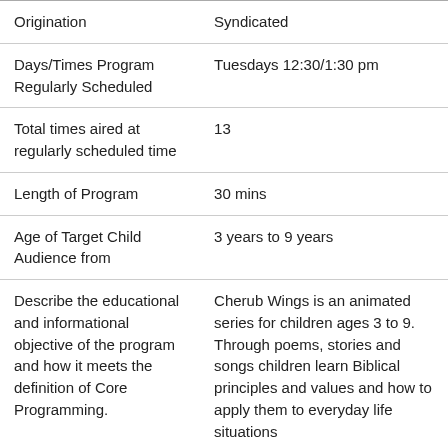| Field | Value |
| --- | --- |
| Origination | Syndicated |
| Days/Times Program Regularly Scheduled | Tuesdays 12:30/1:30 pm |
| Total times aired at regularly scheduled time | 13 |
| Length of Program | 30 mins |
| Age of Target Child Audience from | 3 years to 9 years |
| Describe the educational and informational objective of the program and how it meets the definition of Core Programming. | Cherub Wings is an animated series for children ages 3 to 9. Through poems, stories and songs children learn Biblical principles and values and how to apply them to everyday life situations |